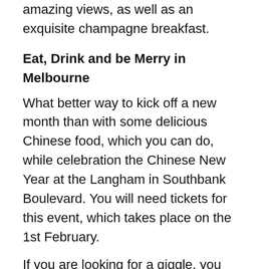amazing views, as well as an exquisite champagne breakfast.
Eat, Drink and be Merry in Melbourne
What better way to kick off a new month than with some delicious Chinese food, which you can do, while celebration the Chinese New Year at the Langham in Southbank Boulevard. You will need tickets for this event, which takes place on the 1st February.
If you are looking for a giggle, you might want to check out Nick Cody at the Comics Lounge Comedy from 2nd to 6th February or Lehmo on the 17th February.
Valentine's Day Delights in Perth
If you want to treat your better half to a romantic meal on Valentine's Day, you may want to try the high tea at The George Perth. The package includes some sparkling